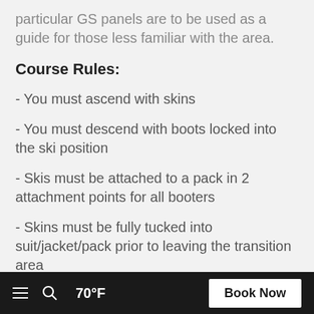particular GS panels are to be used as a guide for those less familiar with the area.
Course Rules:
- You must ascend with skins
- You must descend with boots locked into the ski position
- Skis must be attached to a pack in 2 attachment points for all booters
- Skins must be fully tucked into suit/jacket/pack prior to leaving the transition area
≡  🔍  70°F  Book Now